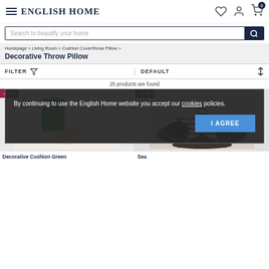ENGLISH HOME
Search to beautify your home
Homepage > Living Room > Cushion Cover/throw Pillow >
Decorative Throw Pillow
FILTER  DEFAULT
25 products are found
By continuing to use the English Home website you accept our cookies policies.  I AGREE
[Figure (photo): Green decorative cushion shaped like letter F on floral background, -70% discount badge]
[Figure (photo): Black and white striped star-shaped throw pillow on dark tray, -70% discount badge]
Decorative Cushion Green
Sea